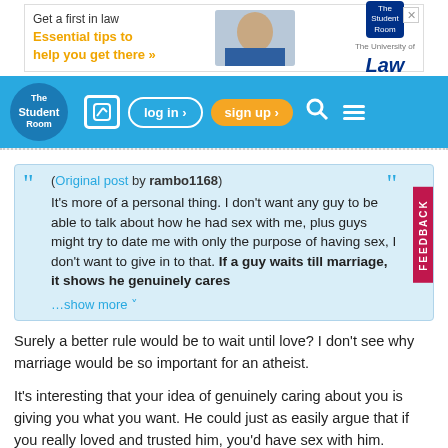[Figure (screenshot): Advertisement banner for The University of Law: 'Get a first in law - Essential tips to help you get there »']
[Figure (screenshot): The Student Room website navigation bar with logo, edit icon, log in button, sign up button, search icon, and menu icon]
(Original post by rambo1168)
It's more of a personal thing. I don't want any guy to be able to talk about how he had sex with me, plus guys might try to date me with only the purpose of having sex, I don't want to give in to that. If a guy waits till marriage, it shows he genuinely cares
…show more
Surely a better rule would be to wait until love? I don't see why marriage would be so important for an atheist.
It's interesting that your idea of genuinely caring about you is giving you what you want. He could just as easily argue that if you really loved and trusted him, you'd have sex with him.